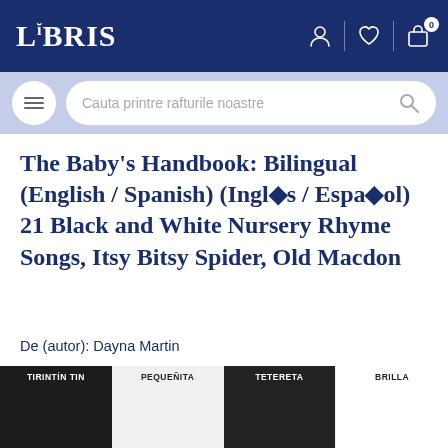LIBRIS
Cauta printre rafturile noastre
The Baby's Handbook: Bilingual (English / Spanish) (Inglés / Español) 21 Black and White Nursery Rhyme Songs, Itsy Bitsy Spider, Old Macdon
De (autor): Dayna Martin
★★★★★ review Goodreads
[Figure (illustration): Book covers strip at bottom showing: TIRINTÍN TIN, PEQUEÑITA, TETERETA, BRILLA — partially visible book cover thumbnails]